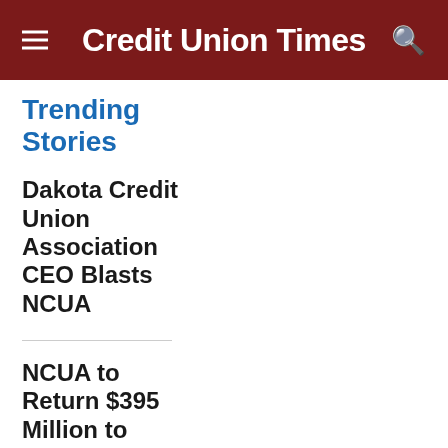Credit Union Times
Trending Stories
Dakota Credit Union Association CEO Blasts NCUA
NCUA to Return $395 Million to Credit Unions